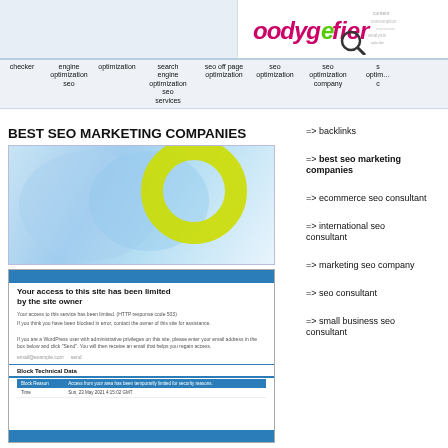[Figure (logo): oodygefier.com logo with magnifying glass and word cloud]
checker | engine optimization seo | optimization | search engine optimization seo services | seo off page optimization | seo optimization | seo optimization company | seo optim...
BEST SEO MARKETING COMPANIES
[Figure (illustration): Abstract blue and teal digital graphic with yellow-green circle ring]
[Figure (screenshot): Screenshot: Your access to this site has been limited by the site owner. Block Technical Data table showing block reason and date.]
=> backlinks
=> best seo marketing companies
=> ecommerce seo consultant
=> international seo consultant
=> marketing seo company
=> seo consultant
=> small business seo consultant
Best SEO Company Google Digital Marketing Search Engine Agency Chameleon Web Services. Best SEO Company Google